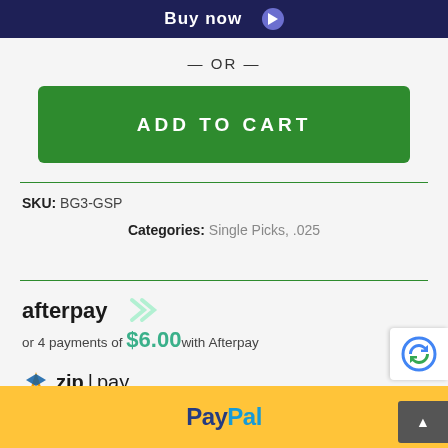[Figure (screenshot): Buy now button bar with dark navy background and play icon]
— OR —
[Figure (screenshot): Green ADD TO CART button]
SKU: BG3-GSP
Categories: Single Picks, .025
[Figure (logo): Afterpay logo with chevron arrows]
or 4 payments of $6.00 with Afterpay
[Figure (logo): Zip pay logo with star icon]
own it from $10/wk
[Figure (logo): PayPal yellow button bar]